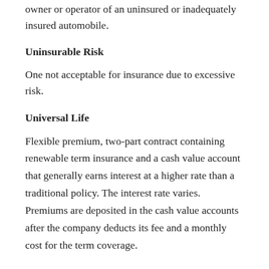owner or operator of an uninsured or inadequately insured automobile.
Uninsurable Risk
One not acceptable for insurance due to excessive risk.
Universal Life
Flexible premium, two-part contract containing renewable term insurance and a cash value account that generally earns interest at a higher rate than a traditional policy. The interest rate varies. Premiums are deposited in the cash value accounts after the company deducts its fee and a monthly cost for the term coverage.
Urgent Care
Urgent care is appropriate when a medical urgency arises